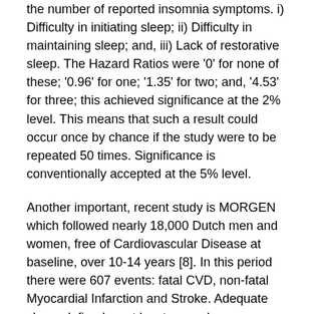the number of reported insomnia symptoms. i) Difficulty in initiating sleep; ii) Difficulty in maintaining sleep; and, iii) Lack of restorative sleep. The Hazard Ratios were '0' for none of these; '0.96' for one; '1.35' for two; and, '4.53' for three; this achieved significance at the 2% level. This means that such a result could occur once by chance if the study were to be repeated 50 times. Significance is conventionally accepted at the 5% level.
Another important, recent study is MORGEN which followed nearly 18,000 Dutch men and women, free of Cardiovascular Disease at baseline, over 10-14 years [8]. In this period there were 607 events: fatal CVD, non-fatal Myocardial Infarction and Stroke. Adequate sleep, defined as at least seven hours, was a protective factor which augmented the benefits conferred by the absence of four traditional cardiovascular risk factors. For example, the